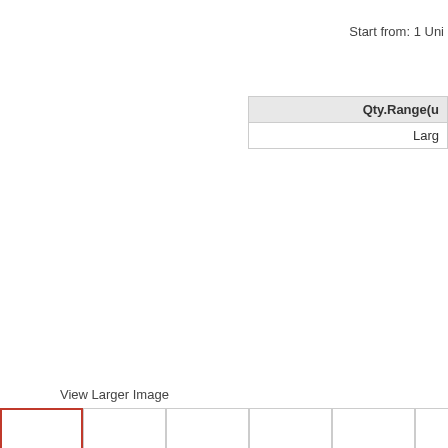Start from: 1 Uni
| Qty.Range(u |
| --- |
| Larg |
View Larger Image
[Figure (photo): Six thumbnail image boxes for product photos, first one selected with red border]
Product Details
We offer unparalleled professional service and advice for our personal and com makes us the specialists you can trust. We pioneered all kind of jammers online worldwide - guaranteed. We are a developer, manufacturer and reseller of cell p products include GSM Jammer, CDMA jammer, DCS/PCS Jammer, GPS Jamm Wireless Video Jammer, Dual Band Repeater,Tri Band Repeater etc.
Product Description
This waterproof cell phone jammer provides high power of cell phone jamming and penal institutions, etc.